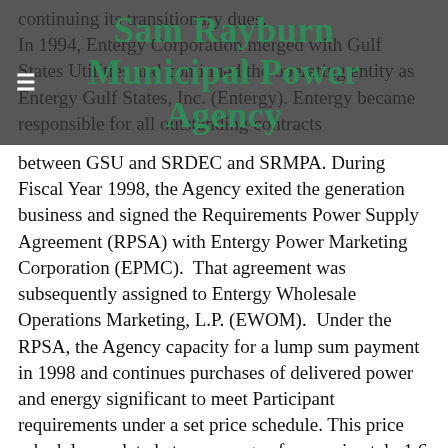Sam Rayburn Municipal Power Agency
In 1994, Entergy Corporation merged with Gulf States Utilities and continued the operating entity as Entergy Gulf States, Inc. (Entergy). Entergy became responsible for all outstanding contracts between GSU and SRDEC and SRMPA. During Fiscal Year 1998, the Agency exited the generation business and signed the Requirements Power Supply Agreement (RPSA) with Entergy Power Marketing Corporation (EPMC).  That agreement was subsequently assigned to Entergy Wholesale Operations Marketing, L.P. (EWOM).  Under the RPSA, the Agency capacity for a lump sum payment in 1998 and continues purchases of delivered power and energy significant to meet Participant requirements under a set price schedule. This price schedule escalated at an average of approximately 1.6 percent per annum, from the effective date through September 30, 2001. Since November 1, 1998, the